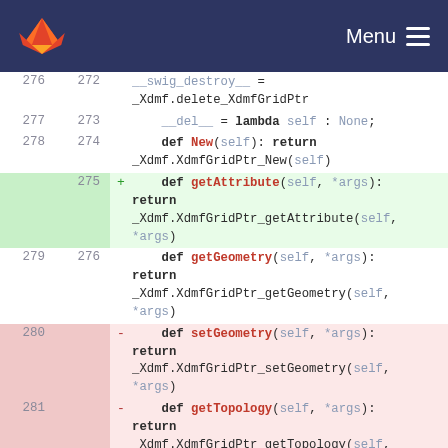Menu
[Figure (screenshot): GitLab logo fox icon in header]
276 272 __swig_destroy__ = _Xdmf.delete_XdmfGridPtr
277 273 __del__ = lambda self : None;
278 274 def New(self): return _Xdmf.XdmfGridPtr_New(self)
275 + def getAttribute(self, *args): return _Xdmf.XdmfGridPtr_getAttribute(self, *args)
279 276 def getGeometry(self, *args): return _Xdmf.XdmfGridPtr_getGeometry(self, *args)
280 - def setGeometry(self, *args): return _Xdmf.XdmfGridPtr_setGeometry(self, *args)
281 - def getTopology(self, *args): return _Xdmf.XdmfGridPtr_getTopology(self,